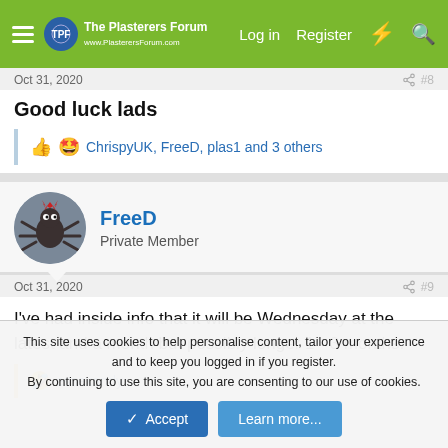The Plasterers Forum — Log in | Register
Oct 31, 2020  #8
Good luck lads
ChrispyUK, FreeD, plas1 and 3 others
FreeD
Private Member
Oct 31, 2020  #9
I've had inside info that it will be Wednesday at the latest and a month but possibly longer 1 - 3 months.
essexandy
This site uses cookies to help personalise content, tailor your experience and to keep you logged in if you register.
By continuing to use this site, you are consenting to our use of cookies.